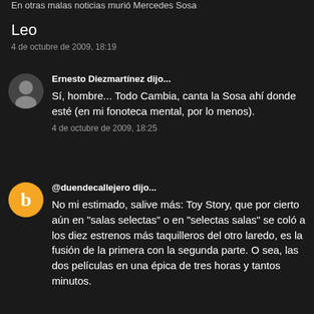En otras malas noticias murió Mercedes Sosa
Leo
4 de octubre de 2009, 18:19
Ernesto Diezmartínez dijo...
Sí, hombre... Todo Cambia, canta la Sosa ahí donde esté (en mi fonoteca mental, por lo menos).
4 de octubre de 2009, 18:25
@duendecallejero dijo...
No mi estimado, salive más: Toy Story, que por cierto aún en "salas selectas" o en "selectas salas" se coló a los diez estrenos más taquilleros del otro laredo, es la fusión de la primera con la segunda parte. O sea, las dos películas en una épica de tres horas y tantos minutos.